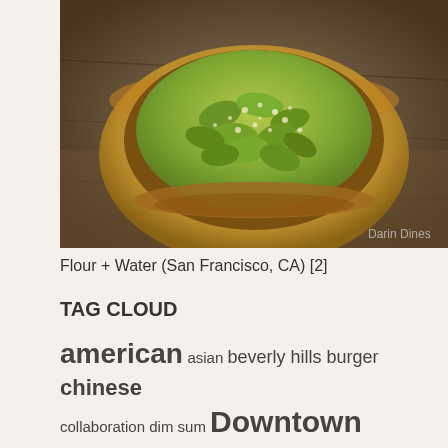[Figure (photo): A bowl of green pasta (likely tortellini or similar) with grated cheese on top, served in a yellow ceramic bowl on a wooden surface. Watermark reads 'Darin Dines' in lower right corner.]
Flour + Water (San Francisco, CA) [2]
TAG CLOUD
american asian beverly hills burger chinese collaboration dim sum Downtown french fried chicken ginza italian japanese joel robuchon kaiseki little tokyo ludobites ludovic lefebvre manhattan beach mexican michelin starred michelin